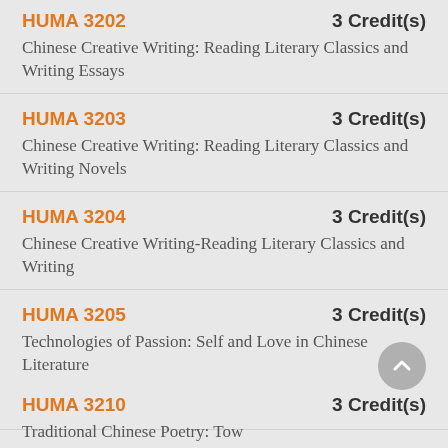HUMA 3202 3 Credit(s) Chinese Creative Writing: Reading Literary Classics and Writing Essays
HUMA 3203 3 Credit(s) Chinese Creative Writing: Reading Literary Classics and Writing Novels
HUMA 3204 3 Credit(s) Chinese Creative Writing-Reading Literary Classics and Writing
HUMA 3205 3 Credit(s) Technologies of Passion: Self and Love in Chinese Literature
HUMA 3210 3 Credit(s) Traditional Chinese Poetry: Towards...